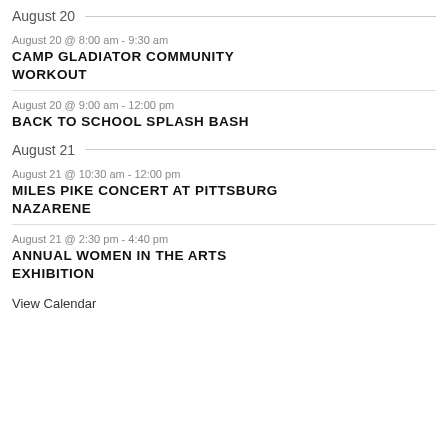August 20
August 20 @ 8:00 am - 9:30 am
CAMP GLADIATOR COMMUNITY WORKOUT
August 20 @ 9:00 am - 12:00 pm
BACK TO SCHOOL SPLASH BASH
August 21
August 21 @ 10:30 am - 12:00 pm
MILES PIKE CONCERT AT PITTSBURG NAZARENE
August 21 @ 2:30 pm - 4:40 pm
ANNUAL WOMEN IN THE ARTS EXHIBITION
View Calendar